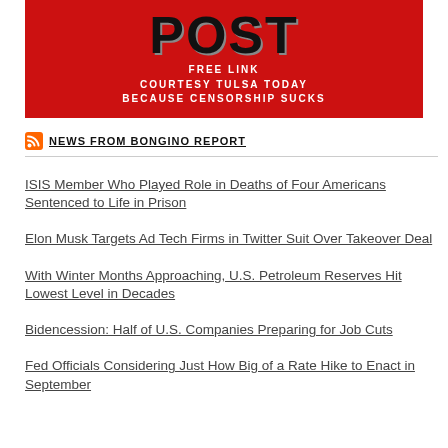[Figure (logo): New York Post style banner in red with 'POST' in large black letters and white text reading 'Free Link Courtesy Tulsa Today Because Censorship Sucks']
NEWS FROM BONGINO REPORT
ISIS Member Who Played Role in Deaths of Four Americans Sentenced to Life in Prison
Elon Musk Targets Ad Tech Firms in Twitter Suit Over Takeover Deal
With Winter Months Approaching, U.S. Petroleum Reserves Hit Lowest Level in Decades
Bidencession: Half of U.S. Companies Preparing for Job Cuts
Fed Officials Considering Just How Big of a Rate Hike to Enact in September